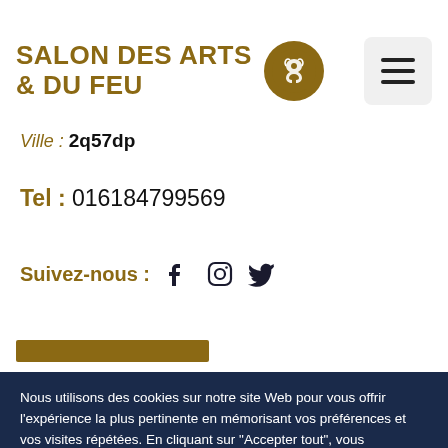SALON DES ARTS & DU FEU
Ville : 2q57dp
Tel : 016184799569
Suivez-nous :
[Figure (infographic): Social media icons: Facebook, Instagram, Twitter in dark color]
Nous utilisons des cookies sur notre site Web pour vous offrir l'expérience la plus pertinente en mémorisant vos préférences et vos visites répétées. En cliquant sur "Accepter tout", vous consentez à l'utilisation de TOUS les cookies. Toutefois, vous pouvez visiter "Paramètres des cookies" pour fournir un consentement contrôlé.
Paramètres des cookies
Accepter tout